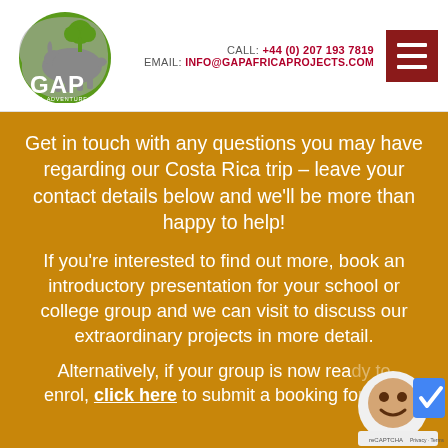[Figure (logo): GAP Global Adventure Projects logo - circular green and grey logo with rhino silhouette and tree]
CALL: +44 (0) 207 193 7819
EMAIL: INFO@GAPAFRICAPROJECTS.COM
[Figure (illustration): Dark red hamburger menu icon (three horizontal white lines on dark red background)]
Get in touch with any questions you may have regarding our Costa Rica trip – leave your contact details below and we'll be more than happy to help!
If you're interested to find out more, book an introductory presentation for your school or college group and we can visit to discuss our extraordinary projects in more detail.
Alternatively, if your group is now ready to enrol, click here to submit a booking form on